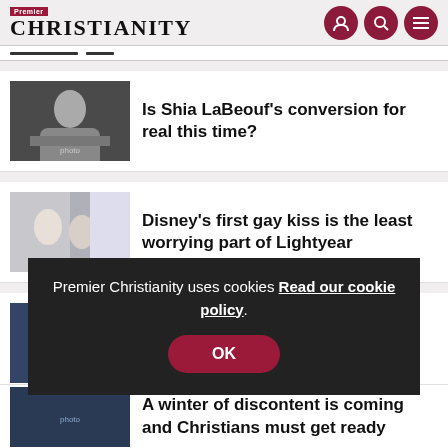Premier Christianity
Is Shia LaBeouf's conversion for real this time?
Disney's first gay kiss is the least worrying part of Lightyear
Premier Christianity uses cookies Read our cookie policy.
A winter of discontent is coming and Christians must get ready